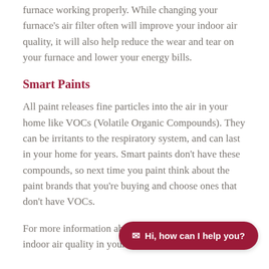furnace working properly. While changing your furnace's air filter often will improve your indoor air quality, it will also help reduce the wear and tear on your furnace and lower your energy bills.
Smart Paints
All paint releases fine particles into the air in your home like VOCs (Volatile Organic Compounds). They can be irritants to the respiratory system, and can last in your home for years. Smart paints don't have these compounds, so next time you paint think about the paint brands that you're buying and choose ones that don't have VOCs.
For more information ab... indoor air quality in your home contact Novel